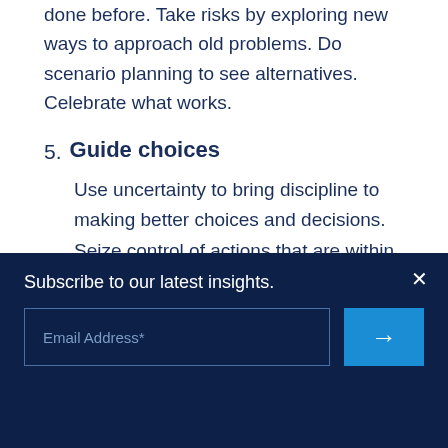done before. Take risks by exploring new ways to approach old problems. Do scenario planning to see alternatives. Celebrate what works.
5. Guide choices
Use uncertainty to bring discipline to making better choices and decisions. Seize control of actions that are within your control by accessing information to make and improve decisions. Create a growth mindset to learn rigorously and
Subscribe to our latest insights.
Email Address*